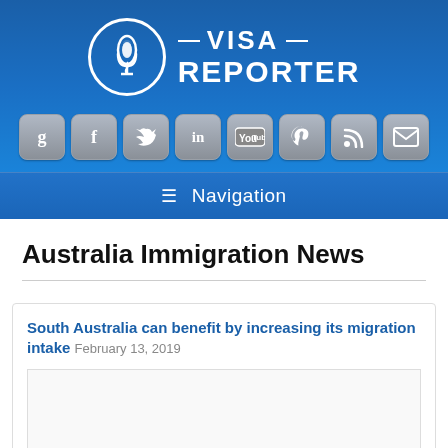[Figure (logo): Visa Reporter logo with microphone icon in circle and text VISA REPORTER]
[Figure (infographic): Social media icons row: Google+, Facebook, Twitter, LinkedIn, YouTube, Pinterest, RSS, Email]
Navigation
Australia Immigration News
South Australia can benefit by increasing its migration intake February 13, 2019
[Figure (photo): Article image placeholder]